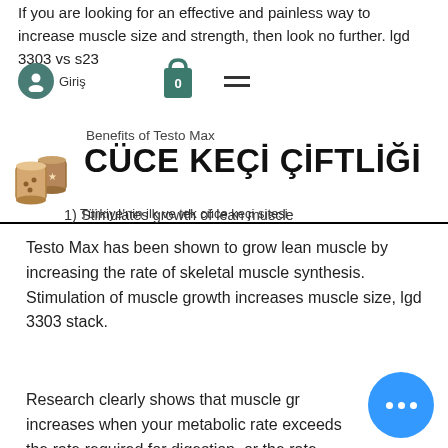If you are looking for an effective and painless way to increase muscle size and strength, then look no further. lgd 3303 vs s23
[Figure (screenshot): Navigation bar with avatar icon, login text 'Giriş', shopping bag icon with 0, and hamburger menu icon]
Benefits of Testo Max
[Figure (logo): Cüce Keçi Çiftliği logo with illustrated goat food/coffee cup icon and bold uppercase Turkish text]
Türkiye'nin ilk ve tek cüce keçi sitesi
1) Stimulates growth of lean muscle
Testo Max has been shown to grow lean muscle by increasing the rate of skeletal muscle synthesis. Stimulation of muscle growth increases muscle size, lgd 3303 stack.
Research clearly shows that muscle growth increases when your metabolic rate exceeds the rate required for digestion, or the rate